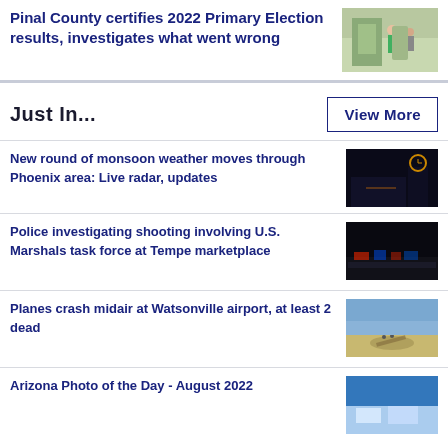Pinal County certifies 2022 Primary Election results, investigates what went wrong
[Figure (photo): Two people outside a building, election-related photo]
Just In...
View More
New round of monsoon weather moves through Phoenix area: Live radar, updates
[Figure (photo): Dark night scene with building and clock]
Police investigating shooting involving U.S. Marshals task force at Tempe marketplace
[Figure (photo): Dark nighttime scene with red and blue lights]
Planes crash midair at Watsonville airport, at least 2 dead
[Figure (photo): Airplane crash scene on field under blue sky]
Arizona Photo of the Day - August 2022
[Figure (photo): Aerial or sky photo, blue tones]